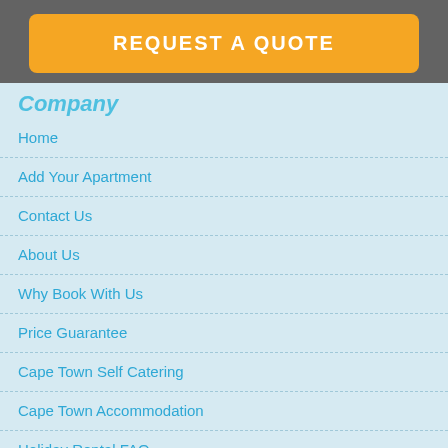REQUEST A QUOTE
Company
Home
Add Your Apartment
Contact Us
About Us
Why Book With Us
Price Guarantee
Cape Town Self Catering
Cape Town Accommodation
Holiday Rental FAQ
Terms and Conditions
Privacy Policy
Sitemap